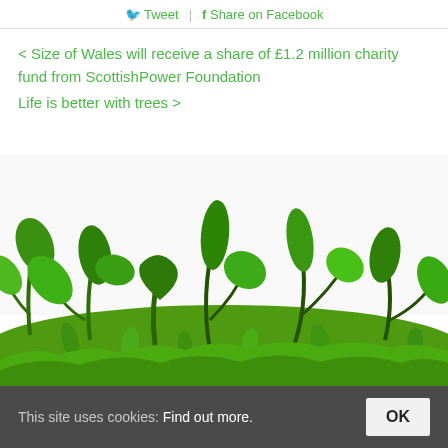Tweet | Share on Facebook
< Size of Wales will receive a share of £1.2 million charity fund from ScottishPower Foundation
Life is better with trees >
[Figure (photo): Green plant shoots and leaves growing from a grass mound, photographic image with white background above]
This site uses cookies: Find out more. OK